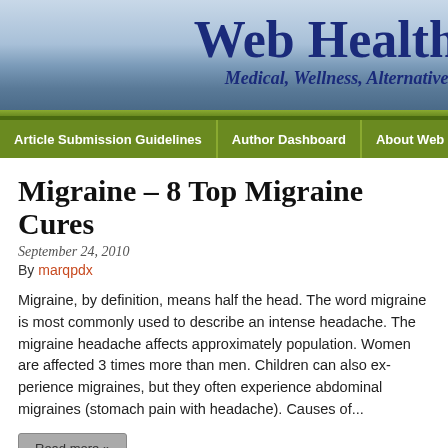Web Health — Medical, Wellness, Alternative
Article Submission Guidelines | Author Dashboard | About Web H
Migraine – 8 Top Migraine Cures
September 24, 2010
By marqpdx
Migraine, by definition, means half the head. The word migraine is most commonly used to describe an intense headache. The migraine headache affects approximately population. Women are affected 3 times more than men. Children can also experience migraines, but they often experience abdominal migraines (stomach pain with headache). Causes of...
Read more »
Natural Supplements for Weight Loss - Develop Healthy Habits
September 24, 2010